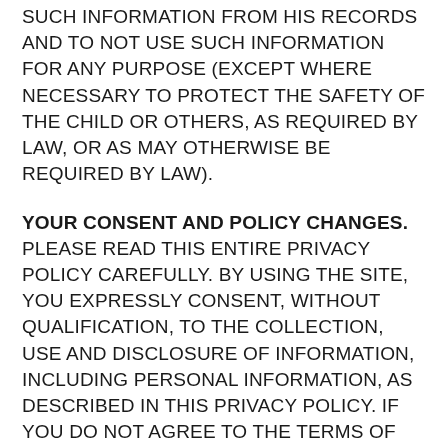SUCH INFORMATION FROM HIS RECORDS AND TO NOT USE SUCH INFORMATION FOR ANY PURPOSE (EXCEPT WHERE NECESSARY TO PROTECT THE SAFETY OF THE CHILD OR OTHERS, AS REQUIRED BY LAW, OR AS MAY OTHERWISE BE REQUIRED BY LAW).
YOUR CONSENT AND POLICY CHANGES. PLEASE READ THIS ENTIRE PRIVACY POLICY CAREFULLY. BY USING THE SITE, YOU EXPRESSLY CONSENT, WITHOUT QUALIFICATION, TO THE COLLECTION, USE AND DISCLOSURE OF INFORMATION, INCLUDING PERSONAL INFORMATION, AS DESCRIBED IN THIS PRIVACY POLICY. IF YOU DO NOT AGREE TO THE TERMS OF THIS PRIVACY POLICY, YOU ARE NOT AUTHORIZED TO USE THE SITE.
Company may amend this Privacy Policy from time